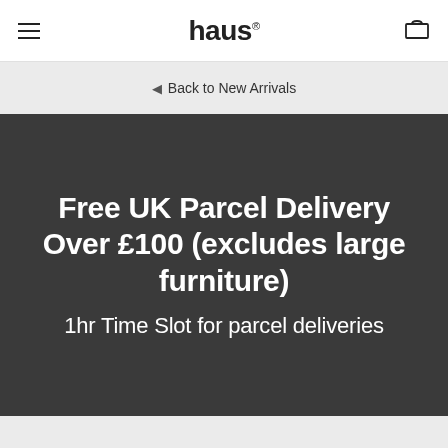haus®
◄ Back to New Arrivals
Free UK Parcel Delivery Over £100 (excludes large furniture)
1hr Time Slot for parcel deliveries